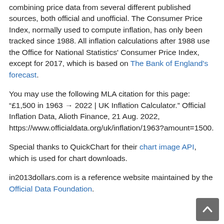combining price data from several different published sources, both official and unofficial. The Consumer Price Index, normally used to compute inflation, has only been tracked since 1988. All inflation calculations after 1988 use the Office for National Statistics' Consumer Price Index, except for 2017, which is based on The Bank of England's forecast.
You may use the following MLA citation for this page: “£1,500 in 1963 → 2022 | UK Inflation Calculator.” Official Inflation Data, Alioth Finance, 21 Aug. 2022, https://www.officialdata.org/uk/inflation/1963?amount=1500.
Special thanks to QuickChart for their chart image API, which is used for chart downloads.
in2013dollars.com is a reference website maintained by the Official Data Foundation.